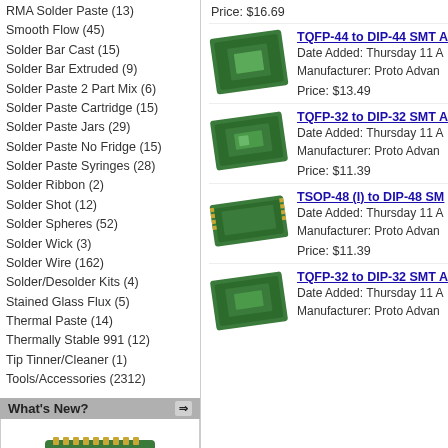RMA Solder Paste (13)
Smooth Flow (45)
Solder Bar Cast (15)
Solder Bar Extruded (9)
Solder Paste 2 Part Mix (6)
Solder Paste Cartridge (15)
Solder Paste Jars (29)
Solder Paste No Fridge (15)
Solder Paste Syringes (28)
Solder Ribbon (2)
Solder Shot (12)
Solder Spheres (52)
Solder Wick (3)
Solder Wire (162)
Solder/Desolder Kits (4)
Stained Glass Flux (5)
Thermal Paste (14)
Thermally Stable 991 (12)
Tip Tinner/Cleaner (1)
Tools/Accessories (2312)
What's New?
[Figure (photo): Green PCB SMT adapter board (JLCC-28 to DIP-28)]
JLCC-28 to DIP-28 SMT Adapter (50 mils / 1.27 mm pitch) Compact Series
Price: $16.69
TQFP-44 to DIP-44 SMT A
Date Added: Thursday 11 A
Manufacturer: Proto Advan
Price: $13.49
[Figure (photo): Green PCB TQFP-44 to DIP-44 SMT adapter board]
TQFP-32 to DIP-32 SMT A
Date Added: Thursday 11 A
Manufacturer: Proto Advan
Price: $11.39
[Figure (photo): Green PCB TQFP-32 to DIP-32 SMT adapter board]
TSOP-48 (I) to DIP-48 SM
Date Added: Thursday 11 A
Manufacturer: Proto Advan
Price: $11.39
[Figure (photo): Green PCB TSOP-48 to DIP-48 SMT adapter board]
TQFP-32 to DIP-32 SMT A
Date Added: Thursday 11 A
Manufacturer: Proto Advan
[Figure (photo): Green PCB TQFP-32 to DIP-32 SMT adapter board (second variant)]